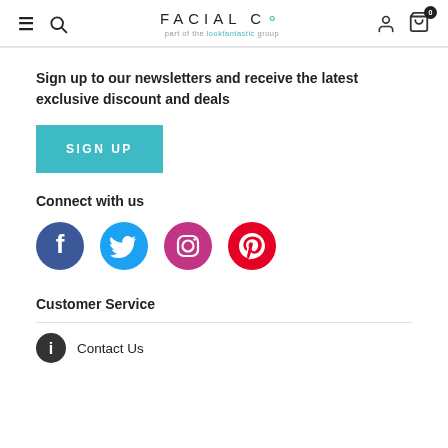FACIAL Co – part of the lookfantastic group
Sign up to our newsletters and receive the latest exclusive discount and deals
SIGN UP
Connect with us
[Figure (infographic): Four social media icons: Facebook (blue circle with f), Twitter (cyan circle with bird), Instagram (pink circle with camera), Pinterest (red circle with P)]
Customer Service
Contact Us